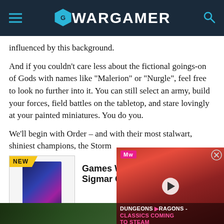WARGAMER
influenced by this background.
And if you couldn't care less about the fictional goings-on of Gods with names like “Malerion” or “Nurgle”, feel free to look no further into it. You can still select an army, build your forces, field battles on the tabletop, and stare lovingly at your painted miniatures. You do you.
We'll begin with Order – and with their most stalwart, shiniest champions, the Storm
[Figure (screenshot): Product listing for Games Workshop Age of Sigmar Core Book with NEW badge, book cover image, and a video overlay showing Dungeons & Dragons - Classics Coming to Steam advertisement]
Games Works... Sigmar Core B...
$59.50
VIEW
[Figure (photo): Bottom strip showing a dark green fantasy scene]